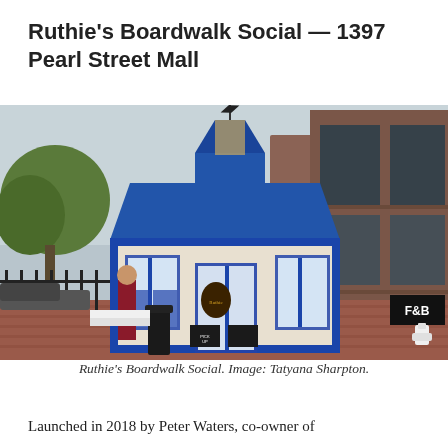Ruthie's Boardwalk Social — 1397 Pearl Street Mall
[Figure (photo): Exterior photo of Ruthie's Boardwalk Social, a small octagonal kiosk-style building with a blue metal roof and weather vane on top, blue and white trim, large windows, located on a brick pedestrian mall. A larger brick and glass commercial building is visible in the background. A person in a red top is standing at the counter window.]
Ruthie's Boardwalk Social. Image: Tatyana Sharpton.
Launched in 2018 by Peter Waters, co-owner of